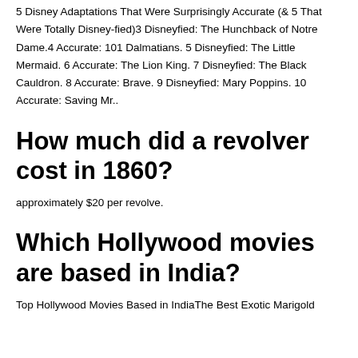5 Disney Adaptations That Were Surprisingly Accurate (& 5 That Were Totally Disney-fied)3 Disneyfied: The Hunchback of Notre Dame.4 Accurate: 101 Dalmatians. 5 Disneyfied: The Little Mermaid. 6 Accurate: The Lion King. 7 Disneyfied: The Black Cauldron. 8 Accurate: Brave. 9 Disneyfied: Mary Poppins. 10 Accurate: Saving Mr..
How much did a revolver cost in 1860?
approximately $20 per revolve.
Which Hollywood movies are based in India?
Top Hollywood Movies Based in IndiaThe Best Exotic Marigold